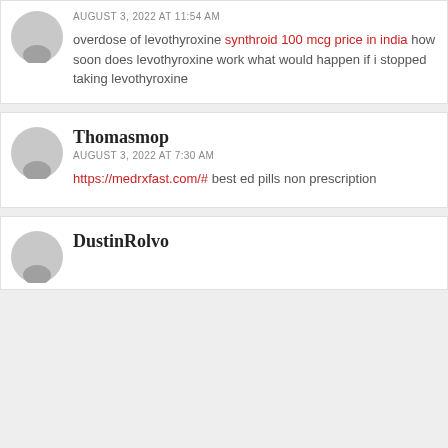revia pills australia AUGUST 3, 2022 AT 11:54 AM overdose of levothyroxine synthroid 100 mcg price in india how soon does levothyroxine work what would happen if i stopped taking levothyroxine
Thomasmop
AUGUST 3, 2022 AT 7:30 AM
https://medrxfast.com/# best ed pills non prescription
DustinRolvo